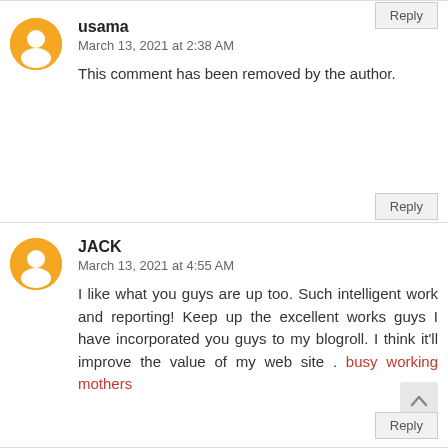usama
March 13, 2021 at 2:38 AM
This comment has been removed by the author.
Reply
JACK
March 13, 2021 at 4:55 AM
I like what you guys are up too. Such intelligent work and reporting! Keep up the excellent works guys I have incorporated you guys to my blogroll. I think it'll improve the value of my web site . busy working mothers
Reply